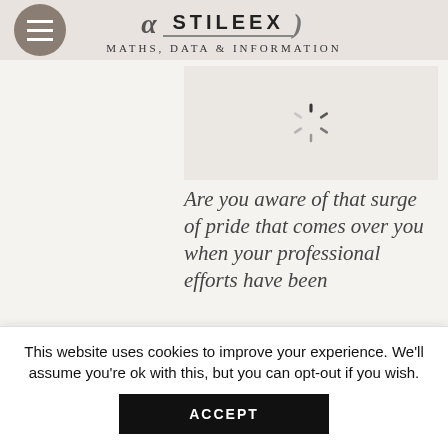α STILEEX ) Maths, Data & Information
[Figure (illustration): Loading spinner icon on a beige/cream background placeholder image]
Are you aware of that surge of pride that comes over you when your professional efforts have been
This website uses cookies to improve your experience. We'll assume you're ok with this, but you can opt-out if you wish.
ACCEPT